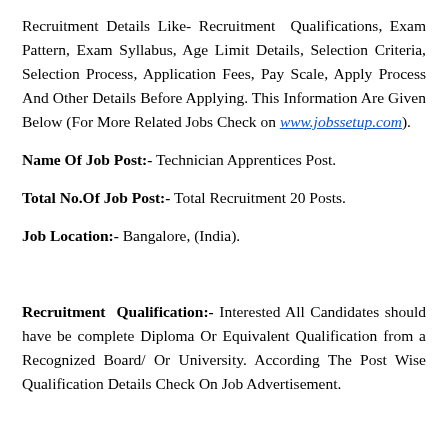Recruitment Details Like- Recruitment Qualifications, Exam Pattern, Exam Syllabus, Age Limit Details, Selection Criteria, Selection Process, Application Fees, Pay Scale, Apply Process And Other Details Before Applying. This Information Are Given Below (For More Related Jobs Check on www.jobssetup.com).
Name Of Job Post:- Technician Apprentices Post.
Total No.Of Job Post:- Total Recruitment 20 Posts.
Job Location:- Bangalore, (India).
Recruitment Qualification:- Interested All Candidates should have be complete Diploma Or Equivalent Qualification from a Recognized Board/ Or University. According The Post Wise Qualification Details Check On Job Advertisement.